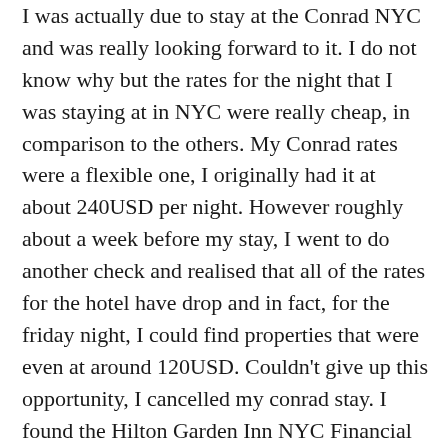I was actually due to stay at the Conrad NYC and was really looking forward to it. I do not know why but the rates for the night that I was staying at in NYC were really cheap, in comparison to the others. My Conrad rates were a flexible one, I originally had it at about 240USD per night. However roughly about a week before my stay, I went to do another check and realised that all of the rates for the hotel have drop and in fact, for the friday night, I could find properties that were even at around 120USD. Couldn't give up this opportunity, I cancelled my conrad stay. I found the Hilton Garden Inn NYC Financial Centre going for only about around 120USD and after taxes and fee, I paid about 147USD. Furthermore, I am going to get some points and clock towards my Hilton Gold as well. The location was pretty good as well. It is located right at the edge of the banks, in Wall St, in fact just opposite the